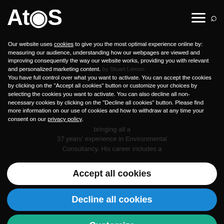[Figure (logo): Atos company logo in white on black background, with hamburger menu and search icon on the right]
Our website uses cookies to give you the most optimal experience online by: measuring our audience, understanding how our webpages are viewed and improving consequently the way our website works, providing you with relevant and personalized marketing content.
You have full control over what you want to activate. You can accept the cookies by clicking on the "Accept all cookies" button or customize your choices by selecting the cookies you want to activate. You can also decline all non-necessary cookies by clicking on the "Decline all cookies" button. Please find more information on our use of cookies and how to withdraw at any time your consent on our privacy policy.
Accept all cookies
Decline all cookies
Customize
Privacy policy